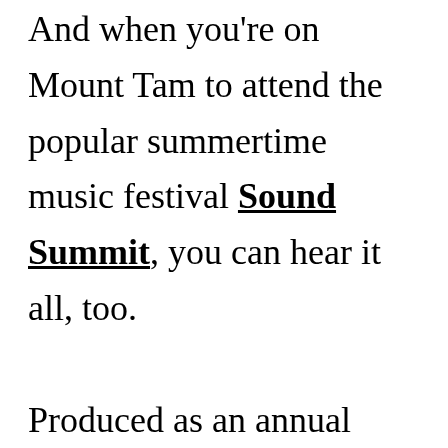And when you're on Mount Tam to attend the popular summertime music festival Sound Summit, you can hear it all, too.

Produced as an annual celebration of and fundraiser for Mount Tamalpais State Park by nonprofit organization Roots & Branches Conservancy, Sound Summit is staged at the historic Mountain